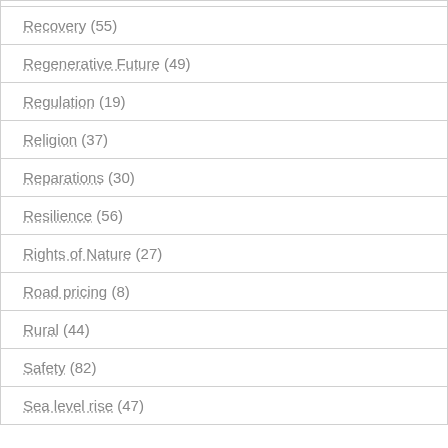Recovery (55)
Regenerative Future (49)
Regulation (19)
Religion (37)
Reparations (30)
Resilience (56)
Rights of Nature (27)
Road pricing (8)
Rural (44)
Safety (82)
Sea level rise (47)